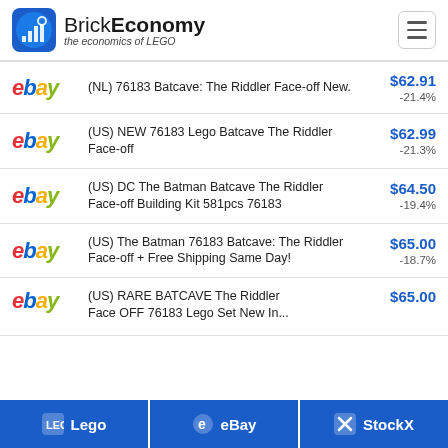BrickEconomy — the economics of LEGO
(NL) 76183 Batcave: The Riddler Face-off New. $62.91 -21.4%
(US) NEW 76183 Lego Batcave The Riddler Face-off $62.99 -21.3%
(US) DC The Batman Batcave The Riddler Face-off Building Kit 581pcs 76183 $64.50 -19.4%
(US) The Batman 76183 Batcave: The Riddler Face-off + Free Shipping Same Day! $65.00 -18.7%
(US) RARE BATCAVE The Riddler Face OFF 76183 Lego Set New In... $65.00
Lego | eBay | StockX